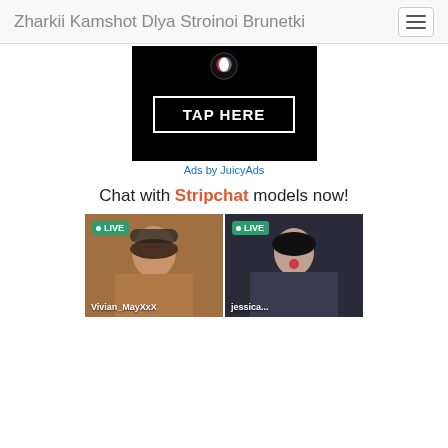Zharkii Kamshot Dlya Stroinoi Brunetki
[Figure (screenshot): Black advertisement banner with TAP HERE button in white border rectangle, TikTok-style icon at top]
Ads by JuicyAds
Chat with Stripchat models now!
[Figure (photo): Two live model thumbnails from Stripchat: Vivian_MayXxX (brunette woman with cap, outdoor) and jessica... (dark-haired woman in car), each with green LIVE badge]
Vivian_MayXxX
jessica...